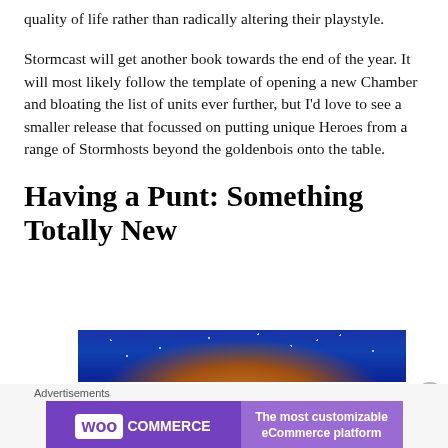quality of life rather than radically altering their playstyle.
Stormcast will get another book towards the end of the year. It will most likely follow the template of opening a new Chamber and bloating the list of units ever further, but I'd love to see a smaller release that focussed on putting unique Heroes from a range of Stormhosts beyond the goldenbois onto the table.
Having a Punt: Something Totally New
[Figure (photo): Partial photo showing a night sky with blue and purple tones and what appears to be a glowing object at the bottom]
Advertisements
[Figure (other): WooCommerce advertisement banner: purple background with WooCommerce logo on left and text 'The most customizable eCommerce platform' on right]